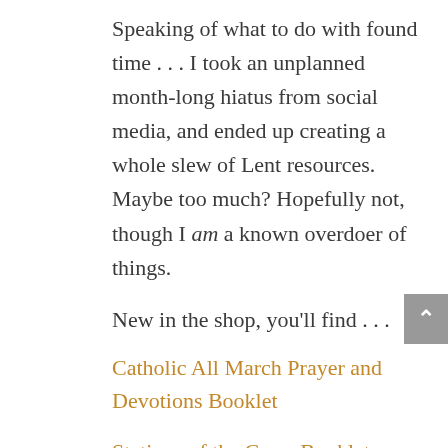Speaking of what to do with found time . . . I took an unplanned month-long hiatus from social media, and ended up creating a whole slew of Lent resources. Maybe too much? Hopefully not, though I am a known overdoer of things.
New in the shop, you'll find . . .
Catholic All March Prayer and Devotions Booklet
Stations of the Cross Booklet